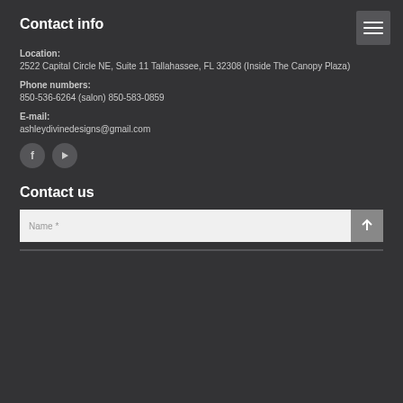Contact info
Location:
2522 Capital Circle NE, Suite 11 Tallahassee, FL 32308 (Inside The Canopy Plaza)
Phone numbers:
850-536-6264 (salon) 850-583-0859
E-mail:
ashleydivinedesigns@gmail.com
[Figure (infographic): Two social media icons: Facebook (f) and YouTube (play button), both circular dark grey buttons]
Contact us
Name *